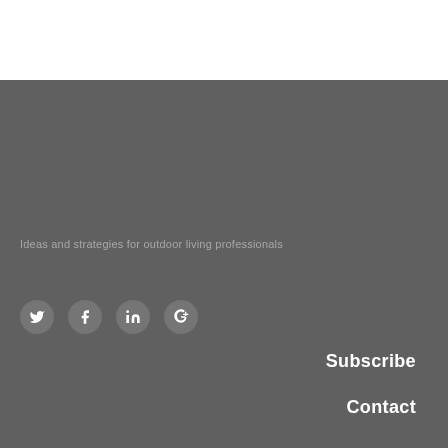Ideas and strategies for outdoor living professionals
[Figure (illustration): Four circular social media icon buttons (Twitter, Facebook, LinkedIn, Google+) on gray background]
Subscribe
Contact